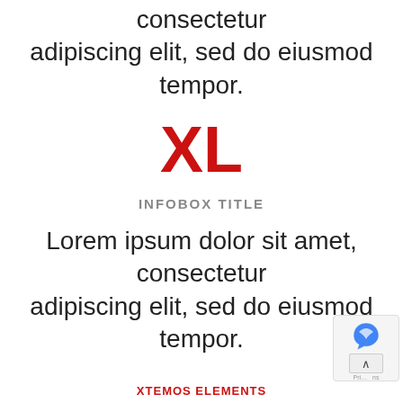consectetur adipiscing elit, sed do eiusmod tempor.
XL
INFOBOX TITLE
Lorem ipsum dolor sit amet, consectetur adipiscing elit, sed do eiusmod tempor.
XTEMOS ELEMENTS